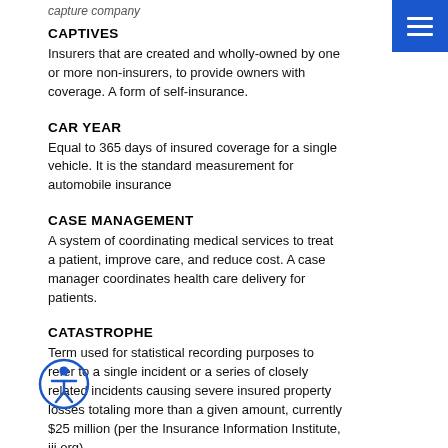CAPTIVES
Insurers that are created and wholly-owned by one or more non-insurers, to provide owners with coverage. A form of self-insurance.
CAR YEAR
Equal to 365 days of insured coverage for a single vehicle. It is the standard measurement for automobile insurance
CASE MANAGEMENT
A system of coordinating medical services to treat a patient, improve care, and reduce cost. A case manager coordinates health care delivery for patients.
CATASTROPHE
Term used for statistical recording purposes to refer to a single incident or a series of closely related incidents causing severe insured property losses totaling more than a given amount, currently $25 million (per the Insurance Information Institute, iii.org).
CATASTROPHE BONDS